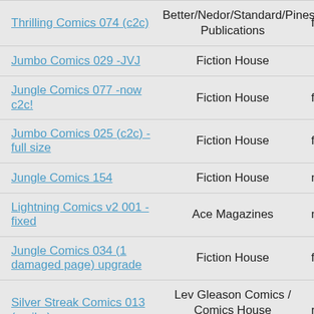| Title | Publisher |  |
| --- | --- | --- |
| Thrilling Comics 074 (c2c) | Better/Nedor/Standard/Pines Publications | f |
| Jumbo Comics 029 -JVJ | Fiction House |  |
| Jungle Comics 077 -now c2c! | Fiction House | f |
| Jumbo Comics 025 (c2c) - full size | Fiction House | f |
| Jungle Comics 154 | Fiction House | m |
| Lightning Comics v2 001 - fixed | Ace Magazines | m |
| Jungle Comics 034 (1 damaged page) upgrade | Fiction House | f |
| Silver Streak Comics 013 (no ibc) | Lev Gleason Comics / Comics House Publications | ra |